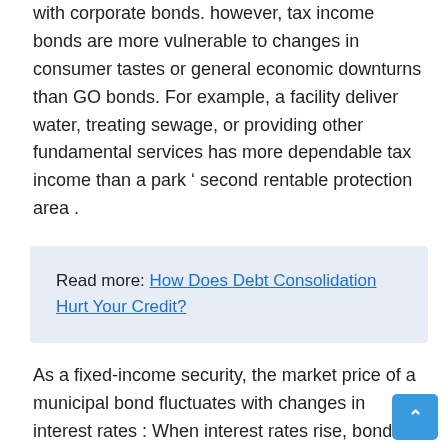with corporate bonds. however, tax income bonds are more vulnerable to changes in consumer tastes or general economic downturns than GO bonds. For example, a facility deliver water, treating sewage, or providing other fundamental services has more dependable tax income than a park ‘ second rentable protection area .
Read more: How Does Debt Consolidation Hurt Your Credit?
As a fixed-income security, the market price of a municipal bond fluctuates with changes in interest rates : When interest rates rise, bond prices decline ; when interest rates decline, bond prices ascend